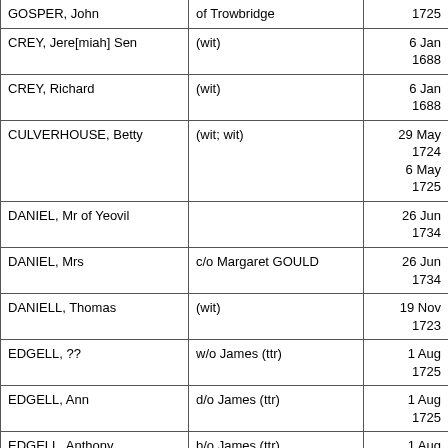| Name | Description | Date |
| --- | --- | --- |
| GOSPER, John | of Trowbridge | 1725 |
| CREY, Jere[miah] Sen | (wit) | 6 Jan
1688 |
| CREY, Richard | (wit) | 6 Jan
1688 |
| CULVERHOUSE, Betty | (wit; wit) | 29 May
1724
6 May
1725 |
| DANIEL, Mr of Yeovil |  | 26 Jun
1734 |
| DANIEL, Mrs | c/o Margaret GOULD | 26 Jun
1734 |
| DANIELL, Thomas | (wit) | 19 Nov
1723 |
| EDGELL, ?? | w/o James (ttr) | 1 Aug
1725 |
| EDGELL, Ann | d/o James (ttr) | 1 Aug
1725 |
| EDGELL, Anthony | b/o James (ttr) | 1 Aug
1725
10 Apr
1729 |
| EDGELL, James of Warminster | gent (ttr) | 1 Aug
1725 |
| EDGELL, James | s/o James (ttr) | 1 Aug
1725 |
| EDGELL, John | s/o James (ttr) | 1 Aug |